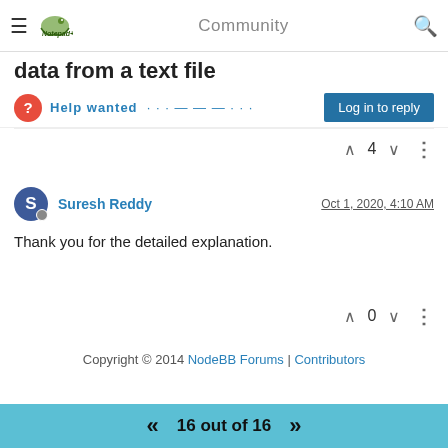Notepad++ Community
data from a text file
Help wanted · · · — — — · · ·
Log in to reply
4
Suresh Reddy  Oct 1, 2020, 4:10 AM
Thank you for the detailed explanation.
0
Copyright © 2014 NodeBB Forums | Contributors
16 out of 16